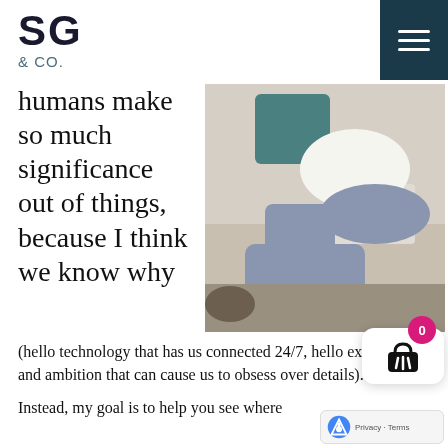SG & CO.
humans make so much significance out of things, because I think we know why (hello technology that has us connected 24/7, hello expectations and ambition that can cause us to obsess over details).
[Figure (photo): Person sitting cross-legged on a couch with a laptop and mug, viewed from side/below, wearing jeans and white top]
Instead, my goal is to help you see where